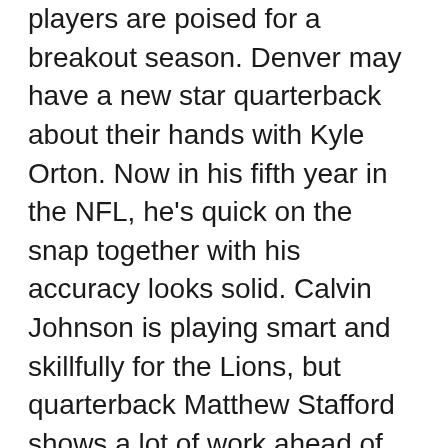players are poised for a breakout season. Denver may have a new star quarterback about their hands with Kyle Orton. Now in his fifth year in the NFL, he's quick on the snap together with his accuracy looks solid. Calvin Johnson is playing smart and skillfully for the Lions, but quarterback Matthew Stafford shows a lot of work ahead of him. The Minnesota Vikings are in-the-pocket with newcomer Percy Harvin and Adrian Peterson. Both Harvin and Peterson are very effective with Brett Favre, along with the trio performed some notable power plays against the Browns and Lions. No doubt we'll be seeing more from them in foreseeable future. And for the best in defense, look into the Baltimore Ravens. They shut down both Blue springs and Hillcrest with top-notch